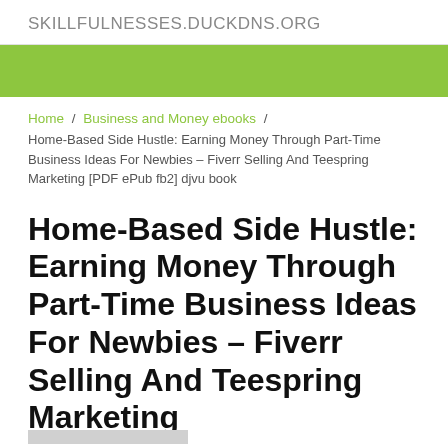SKILLFULNESSES.DUCKDNS.ORG
[Figure (other): Green banner/navigation bar]
Home / Business and Money ebooks / Home-Based Side Hustle: Earning Money Through Part-Time Business Ideas For Newbies – Fiverr Selling And Teespring Marketing [PDF ePub fb2] djvu book
Home-Based Side Hustle: Earning Money Through Part-Time Business Ideas For Newbies – Fiverr Selling And Teespring Marketing